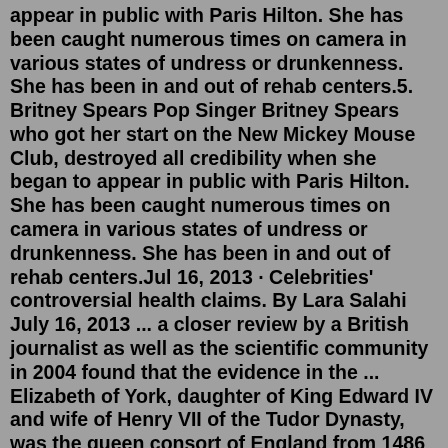appear in public with Paris Hilton. She has been caught numerous times on camera in various states of undress or drunkenness. She has been in and out of rehab centers.5. Britney Spears Pop Singer Britney Spears who got her start on the New Mickey Mouse Club, destroyed all credibility when she began to appear in public with Paris Hilton. She has been caught numerous times on camera in various states of undress or drunkenness. She has been in and out of rehab centers.Jul 16, 2013 · Celebrities' controversial health claims. By Lara Salahi July 16, 2013 ... a closer review by a British journalist as well as the scientific community in 2004 found that the evidence in the ... Elizabeth of York, daughter of King Edward IV and wife of Henry VII of the Tudor Dynasty, was the queen consort of England from 1486 until 1503. She and Henry got married after Henry won at the Battle of Bosworth Field in 1486, thus ending the Wars of the Roses . 16. Anne, Queen of Great Britain. Hayden Christensen was born April 19, 1981 in Vancouver, British Columbia, Canada. His parents, Alie of